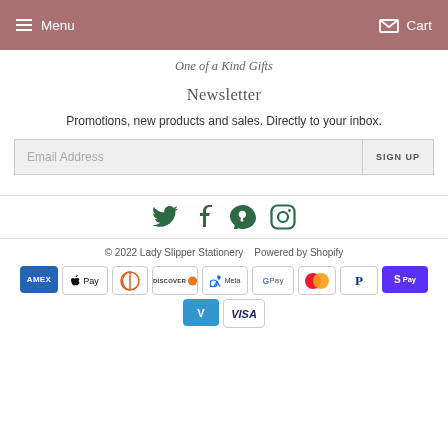Menu   Cart
One of a Kind Gifts
Newsletter
Promotions, new products and sales. Directly to your inbox.
Email Address   SIGN UP
[Figure (infographic): Social media icons: Twitter, Facebook, Pinterest, Instagram in dark green]
© 2022 Lady Slipper Stationery   Powered by Shopify
[Figure (infographic): Payment method icons: American Express, Apple Pay, Diners Club, Discover, Meta Pay, Google Pay, Mastercard, PayPal, Shop Pay, Venmo, Visa]